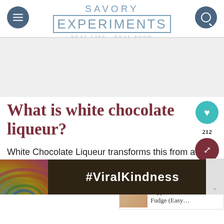SAVORY EXPERIMENTS · REAL LIFE · REAL FOOD ·
[Figure (screenshot): Advertisement banner placeholder area (gray background)]
What is white chocolate liqueur?
[Figure (infographic): Share button circle (teal) with heart icon, share count 212, dark red circle with share icon]
[Figure (infographic): WHAT'S NEXT arrow widget showing Peppermint Fudge (Easy... thumbnail and label]
White Chocolate Liqueur transforms this from a classic… chocolate Mar…
[Figure (screenshot): Advertisement overlay with #ViralKindness text and rainbow graphic on dark background, with close button X]